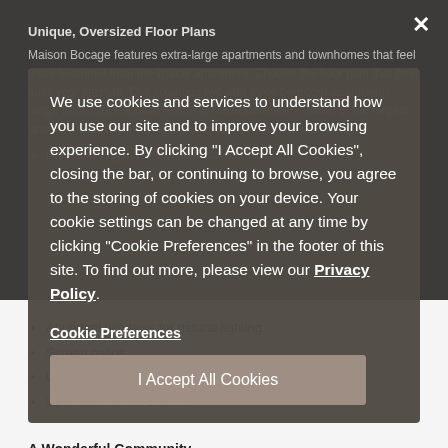Unique, Oversized Floor Plans
Maison Bocage features extra-large apartments and townhomes that feel more luxurious than the typical apartment. Choose the floor plan that best suits your lifestyle. Our luxurious two and three bedroom apartments range from 1,119 square feet to 1,768 square feet – some of the largest apartments in Baton Rouge. Our innovative floor plans van...
Raised ceilings in select floor plans
Abundant windows for natural lighting
Screen patios
Garden tubs
Spacious walk-in closets
Cookie consent overlay: We use cookies and services to understand how you use our site and to improve your browsing experience. By clicking "I Accept All Cookies", closing the bar, or continuing to browse, you agree to the storing of cookies on your device. Your cookie settings can be changed at any time by clicking "Cookie Preferences" in the footer of this site. To find out more, please view our Privacy Policy.
A Wonderful Community
Maison Bocage offers a wide variety of community amenities including a fitness center that is open 24 hours a day plus free water, pest control,